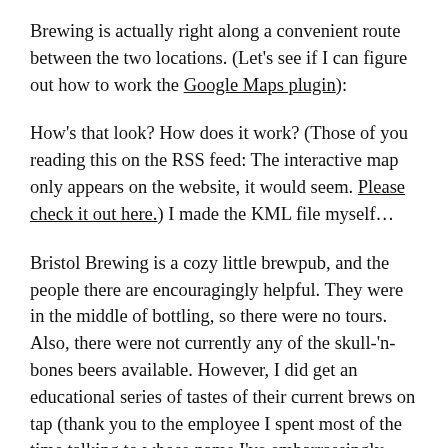Brewing is actually right along a convenient route between the two locations. (Let's see if I can figure out how to work the Google Maps plugin):
How's that look? How does it work? (Those of you reading this on the RSS feed: The interactive map only appears on the website, it would seem. Please check it out here.) I made the KML file myself...
Bristol Brewing is a cozy little brewpub, and the people there are encouragingly helpful. They were in the middle of bottling, so there were no tours. Also, there were not currently any of the skull-'n-bones beers available. However, I did get an educational series of tastes of their current brews on tap (thank you to the employee I spent most of the time talking to whose name I've embarrassingly forgotten, but who I believe was Tad Davis judging from the photos on the web site). I also lucked out